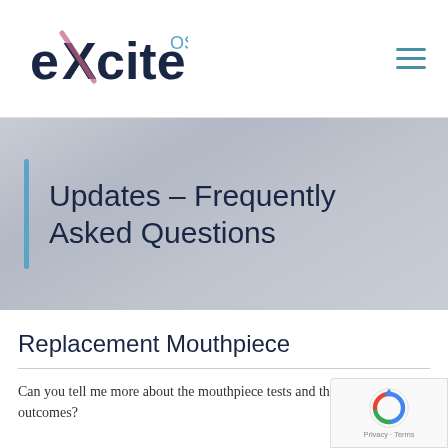eXcite OSA
Updates – Frequently Asked Questions
Replacement Mouthpiece
Can you tell me more about the mouthpiece tests and the outcomes?